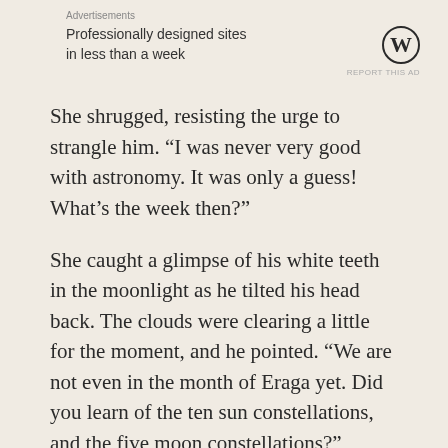[Figure (logo): Advertisement section with WordPress logo and text 'Professionally designed sites in less than a week']
She shrugged, resisting the urge to strangle him. “I was never very good with astronomy. It was only a guess! What’s the week then?”
She caught a glimpse of his white teeth in the moonlight as he tilted his head back. The clouds were clearing a little for the moment, and he pointed. “We are not even in the month of Eraga yet. Did you learn of the ten sun constellations, and the five moon constellations?”
“Vaguely,” she whispered, clearing her throat. Many an hour she had spent with her father on cloudless nights, as he tried to teach her how to tell the times of the year. Many a frustrated sigh